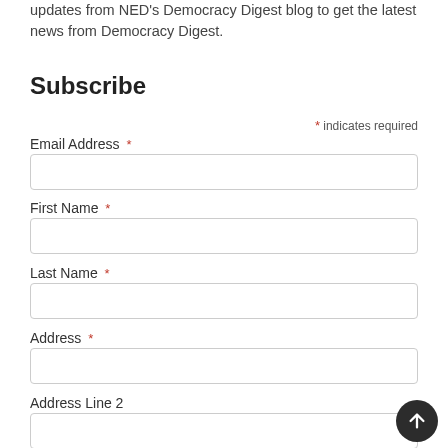updates from NED's Democracy Digest blog to get the latest news from Democracy Digest.
Subscribe
* indicates required
Email Address *
First Name *
Last Name *
Address *
Address Line 2